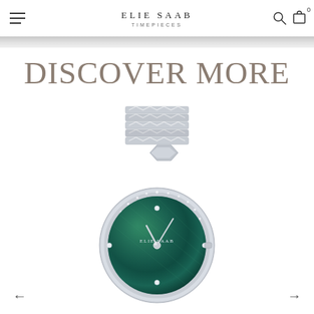ELIE SAAB TIMEPIECES
DISCOVER MORE
[Figure (photo): Elie Saab luxury watch with silver chevron bracelet, diamond-set bezel, and green mother-of-pearl dial with diamond hour markers and silver hands. Brand name ELIE SAAB printed on the dial.]